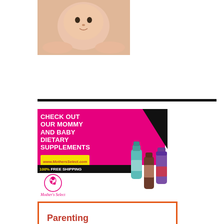[Figure (photo): Baby lying on stomach, looking at camera, photo cropped at top of page]
[Figure (infographic): Mother's Select advertisement: pink background with text 'CHECK OUT OUR MOMMY AND BABY DIETARY SUPPLEMENTS', website www.MothersSelect.com in yellow box, '100% FREE SHIPPING' bar, Mother's Select logo and script text, product bottles/supplements on right side]
[Figure (infographic): Parenting advertisement box with orange border, text 'Parenting from' in dark red bold, partially visible heart icon at bottom]